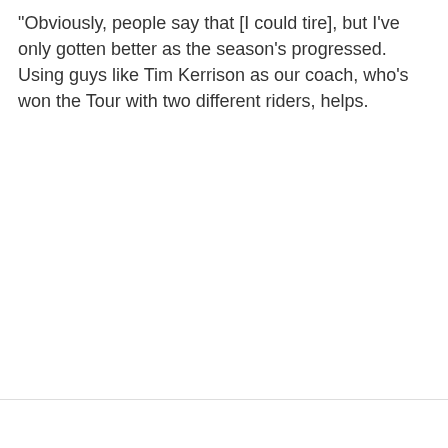"Obviously, people say that [I could tire], but I've only gotten better as the season's progressed. Using guys like Tim Kerrison as our coach, who's won the Tour with two different riders, helps.